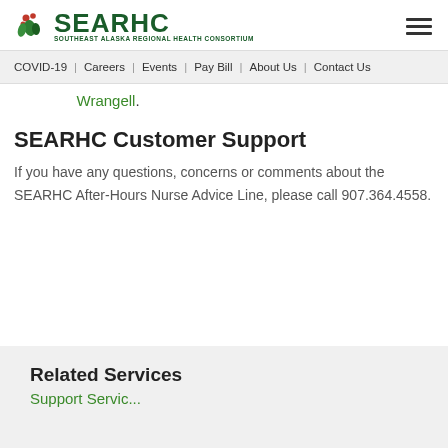SEARHC | SOUTHEAST ALASKA REGIONAL HEALTH CONSORTIUM
COVID-19 | Careers | Events | Pay Bill | About Us | Contact Us
Wrangell.
SEARHC Customer Support
If you have any questions, concerns or comments about the SEARHC After-Hours Nurse Advice Line, please call 907.364.4558.
Related Services
Support Services